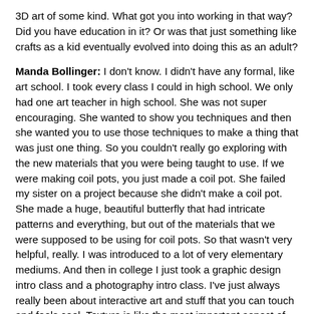3D art of some kind. What got you into working in that way? Did you have education in it? Or was that just something like crafts as a kid eventually evolved into doing this as an adult?
Manda Bollinger: I don't know. I didn't have any formal, like art school. I took every class I could in high school. We only had one art teacher in high school. She was not super encouraging. She wanted to show you techniques and then she wanted you to use those techniques to make a thing that was just one thing. So you couldn't really go exploring with the new materials that you were being taught to use. If we were making coil pots, you just made a coil pot. She failed my sister on a project because she didn't make a coil pot. She made a huge, beautiful butterfly that had intricate patterns and everything, but out of the materials that we were supposed to be using for coil pots. So that wasn't very helpful, really. I was introduced to a lot of very elementary mediums. And then in college I just took a graphic design intro class and a photography intro class. I've just always really been about interactive art and stuff that you can touch and feels cool. Texture is like the most important aspect of art to me. I like it when you look at something and you think, “How on earth did they make that pattern? Or what would that feel like if I touched it?”